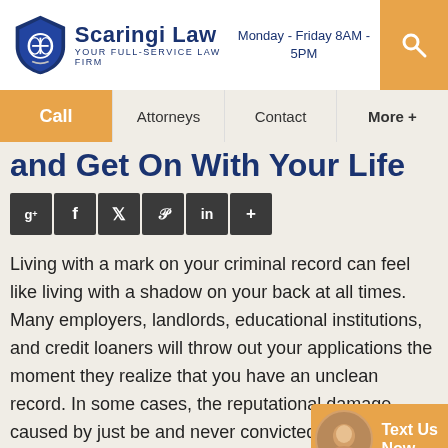[Figure (logo): Scaringi Law logo with shield icon and tagline 'Your Full-Service Law Firm']
Monday - Friday 8AM - 5PM
Call | Attorneys | Contact | More +
and Get On With Your Life
[Figure (infographic): Social sharing buttons: Google+, Facebook, Twitter, Pinterest, LinkedIn, More]
Living with a mark on your criminal record can feel like living with a shadow on your back at all times. Many employers, landlords, educational institutions, and credit loaners will throw out your applications the moment they realize that you have an unclean record. In some cases, the reputational damage caused by just be and never convicted can be devastating, pushing good